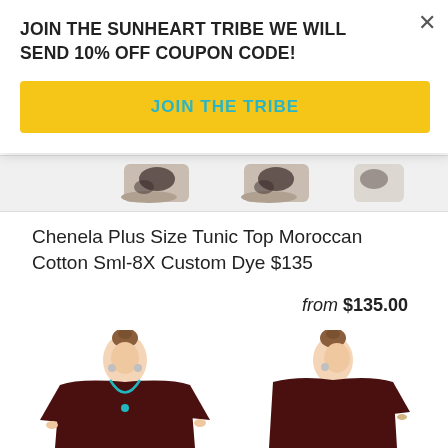JOIN THE SUNHEART TRIBE WE WILL SEND 10% OFF COUPON CODE!
JOIN THE TRIBE
[Figure (photo): Partial view of sandal/shoe product thumbnails in a horizontal strip]
Chenela Plus Size Tunic Top Moroccan Cotton Sml-8X Custom Dye $135
from $135.00
[Figure (photo): Two models wearing dark brown Moroccan cotton tunic top with turquoise necklaces — front view on left, three-quarter back view on right]